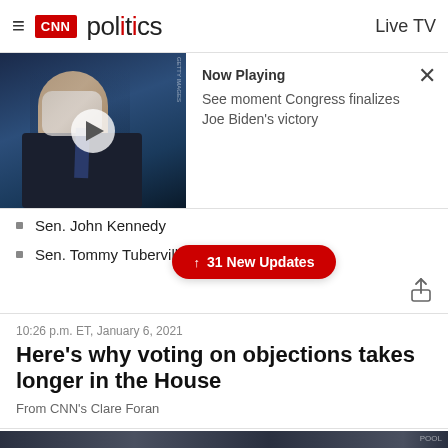CNN politics  Live TV
[Figure (screenshot): CNN video player showing Joe Biden with a play button overlay, and info panel: Now Playing - See moment Congress finalizes Joe Biden's victory]
Sen. John Kennedy
Sen. Tommy Tuberville
↑ 31 New Updates
10:26 p.m. ET, January 6, 2021
Here's why voting on objections takes longer in the House
From CNN's Clare Foran
[Figure (photo): Partial image of what appears to be a legislative chamber or crowd scene at the bottom of the page]